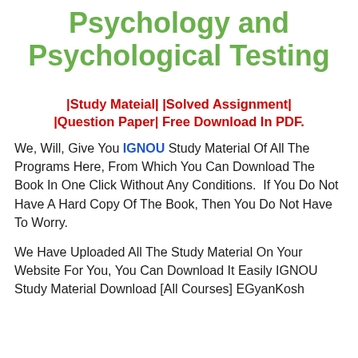Psychology and Psychological Testing
|Study Mateial| |Solved Assignment| |Question Paper| Free Download In PDF.
We, Will, Give You IGNOU Study Material Of All The Programs Here, From Which You Can Download The Book In One Click Without Any Conditions.  If You Do Not Have A Hard Copy Of The Book, Then You Do Not Have To Worry.
We Have Uploaded All The Study Material On Your Website For You, You Can Download It Easily IGNOU Study Material Download [All Courses] EGyanKosh